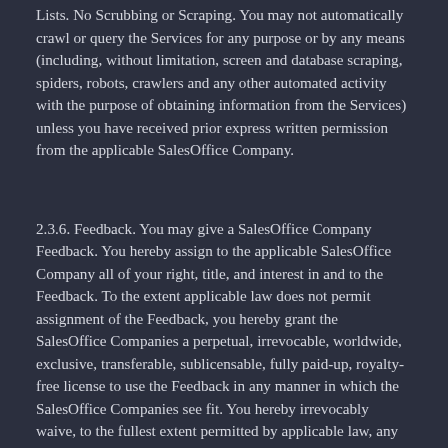Lists. No Scrubbing or Scraping. You may not automatically crawl or query the Services for any purpose or by any means (including, without limitation, screen and database scraping, spiders, robots, crawlers and any other automated activity with the purpose of obtaining information from the Services) unless you have received prior express written permission from the applicable SalesOffice Company.
2.3.6. Feedback. You may give a SalesOffice Company Feedback. You hereby assign to the applicable SalesOffice Company all of your right, title, and interest in and to the Feedback. To the extent applicable law does not permit assignment of the Feedback, you hereby grant the SalesOffice Companies a perpetual, irrevocable, worldwide, exclusive, transferable, sublicensable, fully paid-up, royalty-free license to use the Feedback in any manner in which the SalesOffice Companies see fit. You hereby irrevocably waive, to the fullest extent permitted by applicable law, any claims and assertions of moral rights or attribution with respect to your Feedback.
2.3.7. Reservation of Rights. Except for the limited licenses granted in this Agreement, we reserve all of our rights, interests, and title in and to the Services.